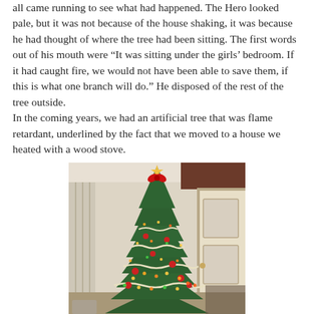all came running to see what had happened.  The Hero looked pale, but it was not because of the house shaking, it was because he had thought of where the tree had been sitting.  The first words out of his mouth were “It was sitting under the girls’ bedroom.  If it had caught fire, we would not have been able to save them, if this is what one branch will do.”  He disposed of the rest of the tree outside.
In the coming years, we had an artificial tree that was flame retardant, underlined by the fact that we moved to a house we heated with a wood stove.
[Figure (photo): A decorated Christmas tree with lights, garland, and ornaments in what appears to be a 1970s-era home interior. A door and curtains are visible in the background.]